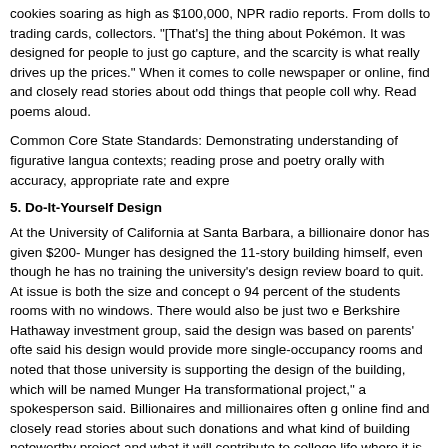cookies soaring as high as $100,000, NPR radio reports. From dolls to trading cards, collectors. "[That's] the thing about Pokémon. It was designed for people to just go capture, and the scarcity is what really drives up the prices." When it comes to collecting, newspaper or online, find and closely read stories about odd things that people collect and why. Read poems aloud.
Common Core State Standards: Demonstrating understanding of figurative language in contexts; reading prose and poetry orally with accuracy, appropriate rate and expression.
5. Do-It-Yourself Design
At the University of California at Santa Barbara, a billionaire donor has given $200-Munger has designed the 11-story building himself, even though he has no training in the university's design review board to quit. At issue is both the size and concept of 94 percent of the students rooms with no windows. There would also be just two entrances. Berkshire Hathaway investment group, said the design was based on parents' often said his design would provide more single-occupancy rooms and noted that those university is supporting the design of the building, which will be named Munger Hall. "transformational project," a spokesperson said. Billionaires and millionaires often give online find and closely read stories about such donations and what kind of building is a noteworthy project and what it will contribute to college life where it is built.
Common Core State Standards: Producing clear and coherent writing in which the evidence when writing or speaking to support conclusions.